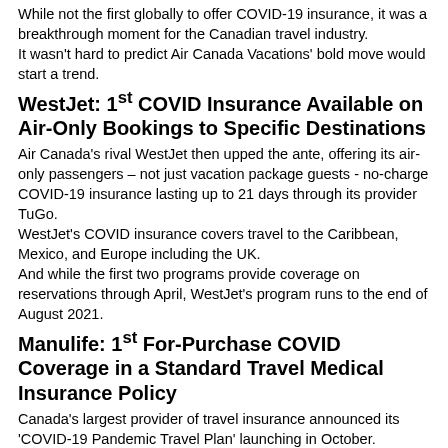While not the first globally to offer COVID-19 insurance, it was a breakthrough moment for the Canadian travel industry.
It wasn't hard to predict Air Canada Vacations' bold move would start a trend.
WestJet: 1st COVID Insurance Available on Air-Only Bookings to Specific Destinations
Air Canada's rival WestJet then upped the ante, offering its air-only passengers – not just vacation package guests - no-charge COVID-19 insurance lasting up to 21 days through its provider TuGo.
WestJet's COVID insurance covers travel to the Caribbean, Mexico, and Europe including the UK.
And while the first two programs provide coverage on reservations through April, WestJet's program runs to the end of August 2021.
Manulife: 1st For-Purchase COVID Coverage in a Standard Travel Medical Insurance Policy
Canada's largest provider of travel insurance announced its 'COVID-19 Pandemic Travel Plan' launching in October. Manulife adds COVID coverage to its standard emergency travel medical policy, with specific additional coverage for COVID-19 medical care and out-of-country quarantine expenses.